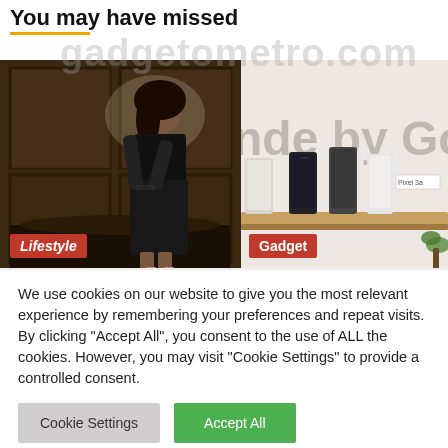You may have missed
[Figure (photo): Woman in black outfit standing in front of dark wood paneling]
[Figure (photo): Made by Google store display with Pixel 3a phones on a wooden shelf]
We use cookies on our website to give you the most relevant experience by remembering your preferences and repeat visits. By clicking "Accept All", you consent to the use of ALL the cookies. However, you may visit "Cookie Settings" to provide a controlled consent.